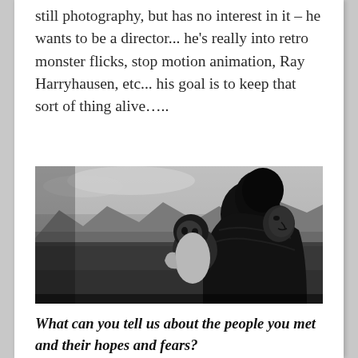still photography, but has no interest in it – he wants to be a director... he's really into retro monster flicks, stop motion animation, Ray Harryhausen, etc... his goal is to keep that sort of thing alive.....
[Figure (photo): Black and white photograph of a woman holding a baby/toddler outdoors, with mountains and a grassy landscape in the background.]
What can you tell us about the people you met and their hopes and fears?